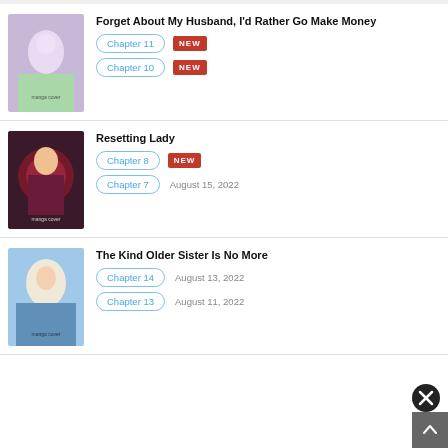Forget About My Husband, I'd Rather Go Make Money
Chapter 11 NEW
Chapter 10 NEW
Resetting Lady
Chapter 8 NEW
Chapter 7 August 15, 2022
The Kind Older Sister Is No More
Chapter 14 August 13, 2022
Chapter 13 August 11, 2022